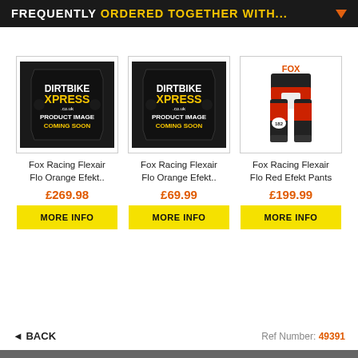FREQUENTLY ORDERED TOGETHER WITH...
[Figure (photo): Dirtbike Xpress placeholder image - black hexagonal number plate shape with 'DIRTBIKE XPRESS .co.uk PRODUCT IMAGE COMING SOON' text]
Fox Racing Flexair Flo Orange Efekt..
£269.98
MORE INFO
[Figure (photo): Dirtbike Xpress placeholder image - black hexagonal number plate shape with 'DIRTBIKE XPRESS .co.uk PRODUCT IMAGE COMING SOON' text]
Fox Racing Flexair Flo Orange Efekt..
£69.99
MORE INFO
[Figure (photo): Fox Racing Flexair Flo Red Efekt Pants - red and black motocross pants on a model]
Fox Racing Flexair Flo Red Efekt Pants
£199.99
MORE INFO
◄ BACK
Ref Number: 49391